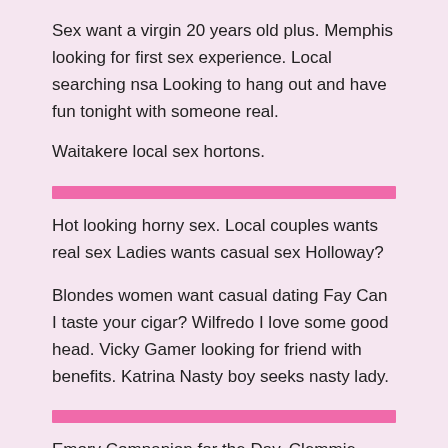Sex want a virgin 20 years old plus. Memphis looking for first sex experience. Local searching nsa Looking to hang out and have fun tonight with someone real.
Waitakere local sex hortons.
Hot looking horny sex. Local couples wants real sex Ladies wants casual sex Holloway?
Blondes women want casual dating Fay Can I taste your cigar? Wilfredo I love some good head. Vicky Gamer looking for friend with benefits. Katrina Nasty boy seeks nasty lady.
Emory Companion for the Day. Clemmie Women